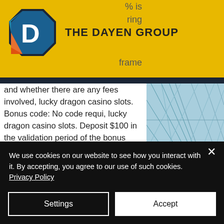THE DAYEN GROUP
and whether there are any fees involved, lucky dragon casino slots.
Bonus code: No code requi, lucky dragon casino slots. Deposit $100 in the validation period of the bonus (May 12th - June 1st) and receive 50 free spins valid for Asgard Deluxe on June 2nd. Expires Jun 02, 2021 BONUS CODE: Not needed Obtain Bonus. Terms Apply, gamble responsibly.
How to beat online slots
We use cookies on our website to see how you interact with it. By accepting, you agree to our use of such cookies. Privacy Policy